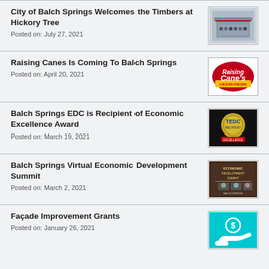City of Balch Springs Welcomes the Timbers at Hickory Tree
Posted on: July 27, 2021
[Figure (photo): Ribbon cutting ceremony photo for Timbers at Hickory Tree]
Raising Canes Is Coming To Balch Springs
Posted on: April 20, 2021
[Figure (logo): Raising Cane's Chicken Fingers logo]
Balch Springs EDC is Recipient of Economic Excellence Award
Posted on: March 19, 2021
[Figure (photo): TEDC Economic Excellence Award badge]
Balch Springs Virtual Economic Development Summit
Posted on: March 2, 2021
[Figure (photo): Balch Springs Virtual Economic Development Summit poster]
Façade Improvement Grants
Posted on: January 26, 2021
[Figure (illustration): Cyan background with dollar sign icon and hand illustration]